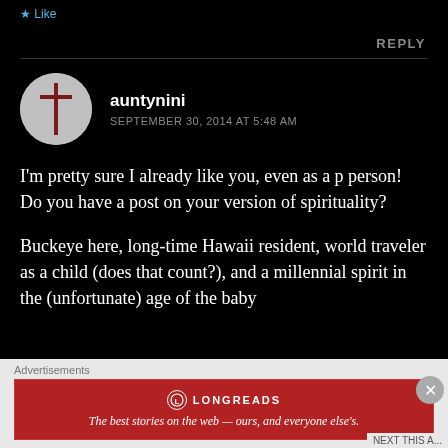Like
REPLY
auntynini
SEPTEMBER 30, 2014 AT 5:48 AM
I'm pretty sure I already like you, even as a p person! Do you have a post on your version of spirituality?
Buckeye here, long-time Hawaii resident, world traveler as a child (does that count?), and a millennial spirit in the (unfortunate) age of the baby
Advertisements
[Figure (logo): Longreads advertisement banner: The best stories on the web — ours, and everyone else's.]